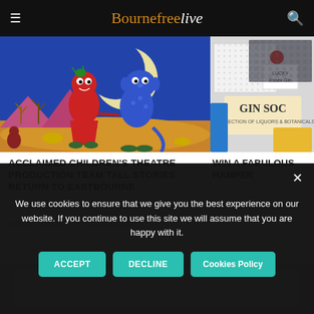Bournefreelive
[Figure (illustration): Colorful children's theatre illustration showing a red monster character and a blue monster character holding hands in a desert-like landscape with a full moon background]
[Figure (photo): Gin Society hamper photo showing GIN SOC box and accessories]
ACCLAIMED CHILDREN'S THEATRE PRODUCTION TEAM TALL STORIES RETURN TO EASTBOURNE
PETER LINDSEY × 20 OCTOBER 2021
WIN A FABULOUS HAMPER
PETER LINDSEY × 2
We use cookies to ensure that we give you the best experience on our website. If you continue to use this site we will assume that you are happy with it.